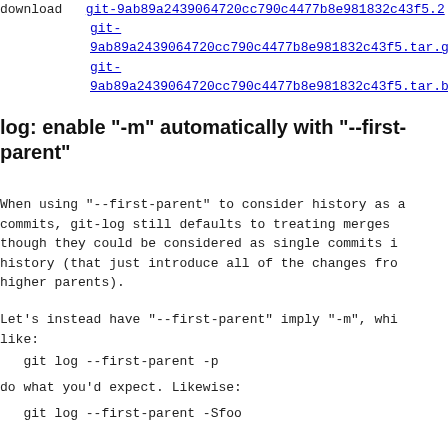download   git-9ab89a2439064720cc790c4477b8e981832c43f5.2
           git-9ab89a2439064720cc790c4477b8e981832c43f5.tar.gz
           git-9ab89a2439064720cc790c4477b8e981832c43f5.tar.bz
log: enable "-m" automatically with "--first-parent"
When using "--first-parent" to consider history as a
commits, git-log still defaults to treating merges
though they could be considered as single commits i
history (that just introduce all of the changes fro
higher parents).
Let's instead have "--first-parent" imply "-m", whi
like:
git log --first-parent -p
do what you'd expect. Likewise:
git log --first-parent -Sfoo
will find "foo" in merge commits.
No new test is needed; we'll tweak the output of th
"--first-parent -p" test, which now matches the "-m
test. The unchanged existing test for "--no-diff-me
the user can get the old behavior if they want.